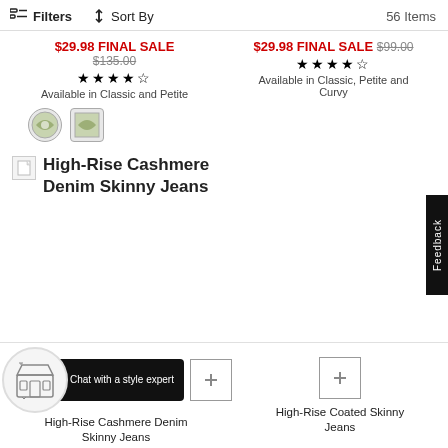Filters  Sort By  56 Items
$29.98 FINAL SALE $135.00 ★★★★☆ Available in Classic and Petite
$29.98 FINAL SALE $99.00 ★★★★½ Available in Classic, Petite and Curvy
[Figure (other): Two color swatch circles for product]
High-Rise Cashmere Denim Skinny Jeans
[Figure (other): Feedback tab on right side]
Chat with a style expert
High-Rise Cashmere Denim Skinny Jeans
High-Rise Coated Skinny Jeans